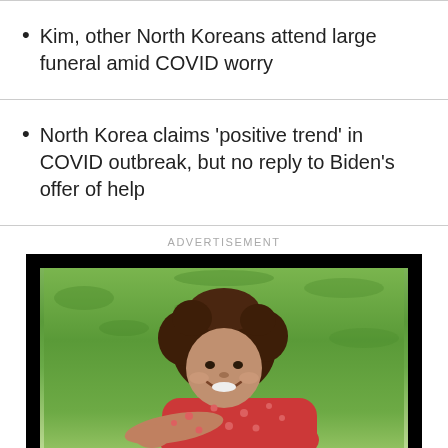Kim, other North Koreans attend large funeral amid COVID worry
North Korea claims 'positive trend' in COVID outbreak, but no reply to Biden's offer of help
ADVERTISEMENT
[Figure (photo): Advertisement image showing a young girl with curly brown hair wearing a red polka-dot dress, lying on green grass and smiling.]